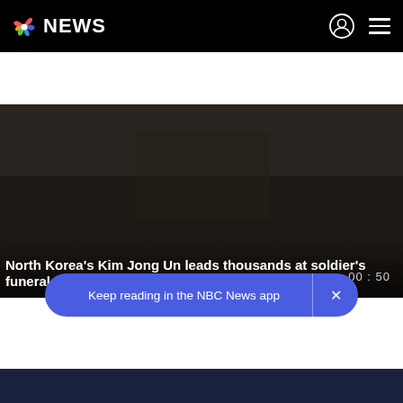NBC NEWS
[Figure (screenshot): Video thumbnail showing soldier funeral scene with dark/muted tones]
North Korea's Kim Jong Un leads thousands at soldier's funeral
Best of NBC News
PLAY ALL
Keep reading in the NBC News app